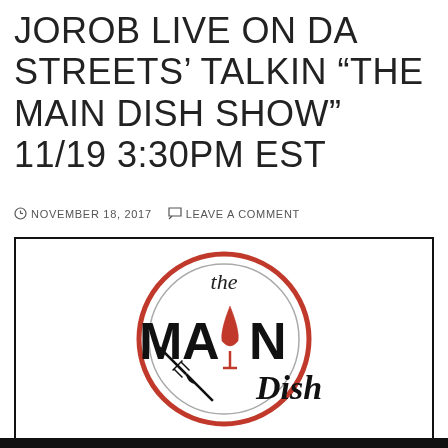JOROB LIVE ON DA STREETS' TALKIN “THE MAIN DISH SHOW” 11/19 3:30PM EST
NOVEMBER 18, 2017   LEAVE A COMMENT
[Figure (logo): The Main Dish Show circular logo with red and gray concentric circles, a wine glass replacing the 'I' in MAIN, and crossed fork and knife below, with script text 'the' at top and 'Dish' in script at bottom right]